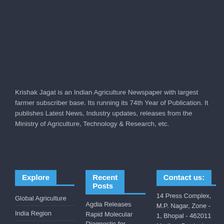Krishak Jagat is an Indian Agriculture Newspaper with largest farmer subscriber base. Its running its 74th Year of Publication. It publishes Latest News, Industry updates, releases from the Ministry of Agriculture, Technology & Research, etc.
Explore
Recent Posts
Contact us:
Global Agriculture
India Region
National News
State News
Agriculture Industry
Agdia Releases Rapid Molecular Diagnostic for Detection of Emerging Viral Pathogen in Cannabis August
14 Press Complex, M.P. Nagar, Zone - 1, Bhopal - 462011 Madhya Pradesh INDIA
Phone: (0755) 4248100